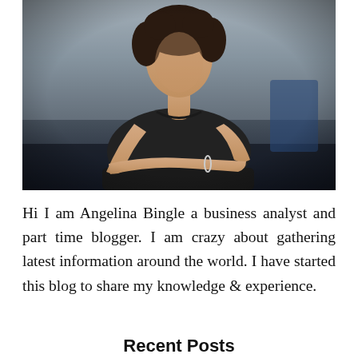[Figure (photo): A young woman with curly dark hair wearing a dark t-shirt, seated and leaning forward with her arms crossed, wearing a silver bracelet. Photo is in a moody, slightly desaturated style with a dark blurred background.]
Hi I am Angelina Bingle a business analyst and part time blogger. I am crazy about gathering latest information around the world. I have started this blog to share my knowledge & experience.
Recent Posts